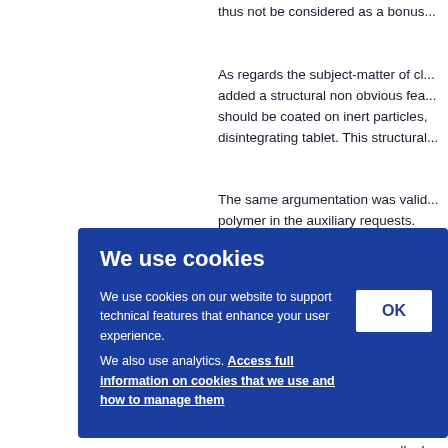thus not be considered as a bonus...
As regards the subject-matter of cl... added a structural non obvious fea... should be coated on inert particles, disintegrating tablet. This structural...
The same argumentation was valid... polymer in the auxiliary requests.
[Figure (screenshot): Cookie consent dialog with blue background. Title: 'We use cookies'. Body text: 'We use cookies on our website to support technical features that enhance your user experience. We also use analytics. Access full information on cookies that we use and how to manage them'. White OK button on right.]
...dent ...ant to ...equiv... ...such ...ally d... ...n ava...